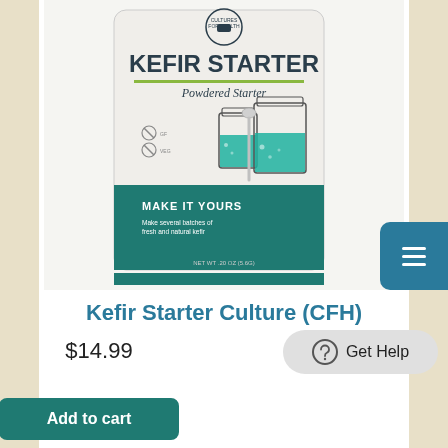[Figure (photo): Product image of Kefir Starter Powdered Starter package by Cultures for Health, showing a white and teal/dark green bag with illustration of mason jars and a spoon, text reads KEFIR STARTER Powdered Starter MAKE IT YOURS Make several batches of fresh and natural kefir NET WT .20 OZ (5.6G)]
Kefir Starter Culture (CFH)
$14.99
Add to cart
Get Help